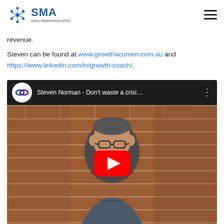SMA Sales Masterminds APAC
revenue.
Steven can be found at www.growthacumen.com.au and https://www.linkedin.com/in/growth-coach/.
[Figure (screenshot): YouTube video embed thumbnail showing Steven Norman - Don't waste a crisi... with a man sitting in front of a brick wall, with a red YouTube play button overlay]